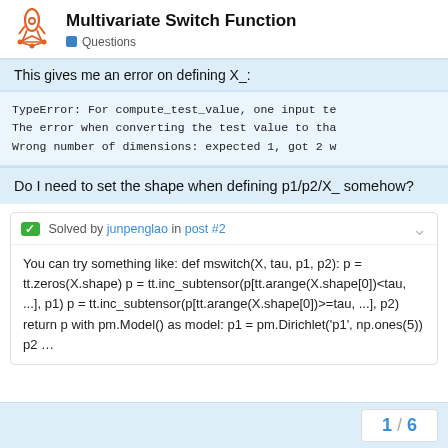Multivariate Switch Function — Questions
This gives me an error on defining X_:
TypeError: For compute_test_value, one input te
The error when converting the test value to tha
Wrong number of dimensions: expected 1, got 2 w
Do I need to set the shape when defining p1/p2/X_ somehow?
Solved by junpenglao in post #2
You can try something like: def mswitch(X, tau, p1, p2): p = tt.zeros(X.shape) p = tt.inc_subtensor(p[tt.arange(X.shape[0])<tau, ...], p1) p = tt.inc_subtensor(p[tt.arange(X.shape[0])>=tau, ...], p2) return p with pm.Model() as model: p1 = pm.Dirichlet('p1', np.ones(5)) p2 ...
1 / 6